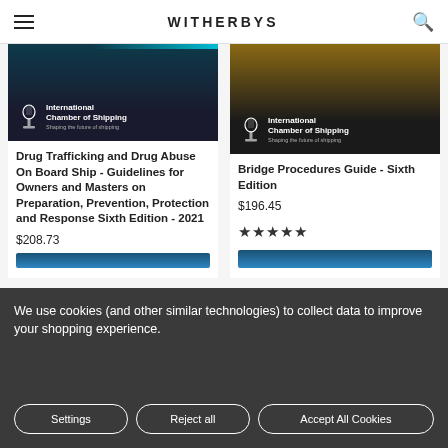WITHERBYS
[Figure (photo): International Chamber of Shipping book cover for Drug Trafficking publication, dark navy background with teal accent bar]
Drug Trafficking and Drug Abuse On Board Ship - Guidelines for Owners and Masters on Preparation, Prevention, Protection and Response Sixth Edition - 2021
$208.73
[Figure (photo): International Chamber of Shipping book cover for Bridge Procedures Guide, dark brown/golden background]
Bridge Procedures Guide - Sixth Edition
$196.45
★★★★★
We use cookies (and other similar technologies) to collect data to improve your shopping experience.